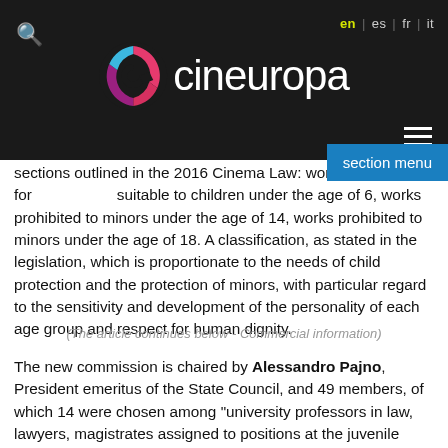[Figure (logo): Cineuropa website header with dark background, Cineuropa logo (colorful C icon with white text), search icon, language switcher (en|es|fr|it), and hamburger menu icon]
sections outlined in the 2016 Cinema Law: works for [section menu] suitable to children under the age of 6, works prohibited to minors under the age of 14, works prohibited to minors under the age of 18. A classification, as stated in the legislation, which is proportionate to the needs of child protection and the protection of minors, with particular regard to the sensitivity and development of the personality of each age group and respect for human dignity.
(The article continues below - Commercial information)
The new commission is chaired by Alessandro Pajno, President emeritus of the State Council, and 49 members, of which 14 were chosen among "university professors in law, lawyers, magistrates assigned to positions at the juvenile court, administrative magistrates, state lawyers and parliamentary advisers;" seven chosen from experts in “pedagogical-educational aspects related to the protection of minors,” another seven “from university professors of psychology, psychiatry or pedagogy, pedagogists and professional educators;” seven other “sociologists with particular expertise in social communication and in childhood and adolescent behaviour;” seven “designated by the most representative parental